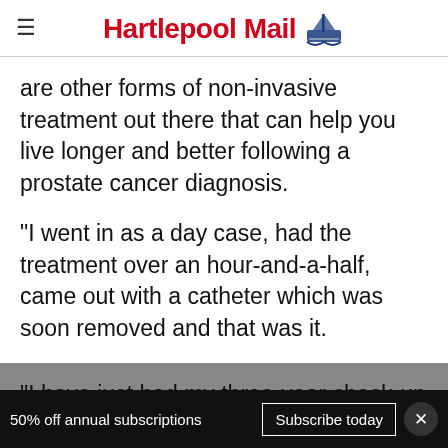Hartlepool Mail
are other forms of non-invasive treatment out there that can help you live longer and better following a prostate cancer diagnosis.
"I went in as a day case, had the treatment over an hour-and-a-half, came out with a catheter which was soon removed and that was it.
"I have just had my three-year check-up and it's totally clear.
50% off annual subscriptions  Subscribe today  ×